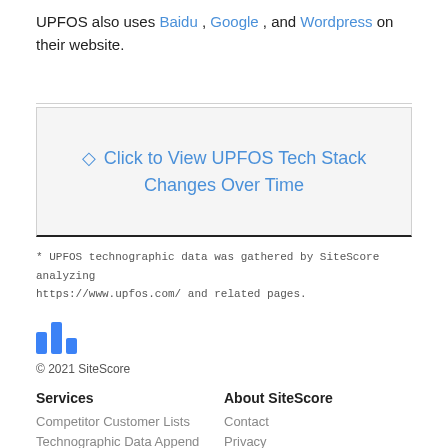UPFOS also uses Baidu , Google , and Wordpress on their website.
[Figure (other): Clickable button/link: Click to View UPFOS Tech Stack Changes Over Time]
* UPFOS technographic data was gathered by SiteScore analyzing https://www.upfos.com/ and related pages.
[Figure (logo): SiteScore bar chart logo icon]
© 2021 SiteScore
Services
Competitor Customer Lists
Technographic Data Append
About SiteScore
Contact
Privacy
Terms